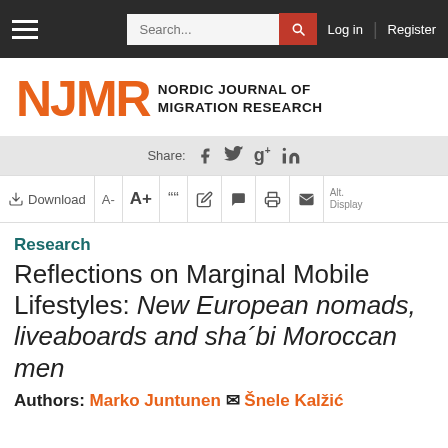NJMR Nordic Journal of Migration Research — navigation bar with search, Log in, Register
[Figure (logo): NJMR Nordic Journal of Migration Research logo — orange NJMR letters with black text]
Share: (Facebook, Twitter, Google+, LinkedIn icons)
Download | A- | A+ | cite | edit | comment | print | email | Alt. Display
Research
Reflections on Marginal Mobile Lifestyles: New European nomads, liveaboards and sha´bi Moroccan men
Authors: Marko Juntunen, Šnele Kalžić